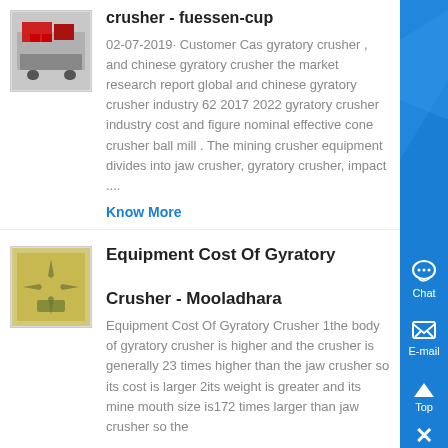[Figure (photo): Thumbnail image of a crusher machine (red/industrial equipment)]
crusher - fuessen-cup
02-07-2019· Customer Cas gyratory crusher , and chinese gyratory crusher the market research report global and chinese gyratory crusher industry 62 2017 2022 gyratory crusher industry cost and figure nominal effective cone crusher ball mill . The mining crusher equipment divides into jaw crusher, gyratory crusher, impact ....
Know More
[Figure (photo): Thumbnail image of gyratory crusher equipment parts (yellowish/mechanical)]
Equipment Cost Of Gyratory Crusher - Mooladhara
Equipment Cost Of Gyratory Crusher 1the body of gyratory crusher is higher and the crusher is generally 23 times higher than the jaw crusher so its cost is larger 2its weight is greater and its mine mouth size is172 times larger than jaw crusher so the